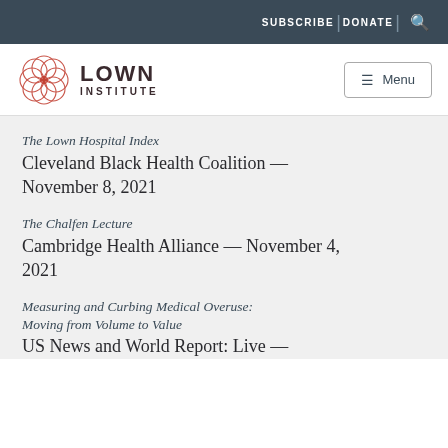SUBSCRIBE | DONATE | 🔍
[Figure (logo): Lown Institute logo with red geometric flower and text LOWN INSTITUTE]
The Lown Hospital Index — Cleveland Black Health Coalition — November 8, 2021
The Chalfen Lecture — Cambridge Health Alliance — November 4, 2021
Measuring and Curbing Medical Overuse: Moving from Volume to Value — US News and World Report: Live —